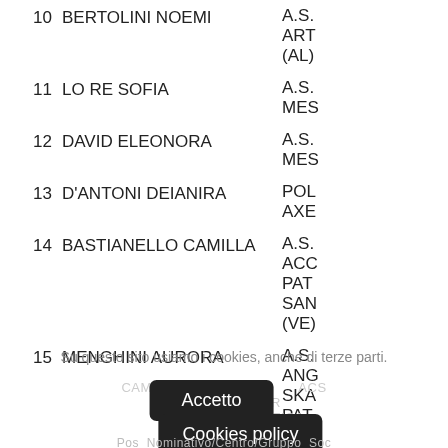10  BERTOLINI NOEMI  A.S. ART (AL)
11  LO RE SOFIA  A.S. MES
12  DAVID ELEONORA  A.S. MES
13  D'ANTONI DEIANIRA  POL AXE
14  BASTIANELLO CAMILLA  A.S. ACC PAT SAN (VE)
15  MENGHINI AURORA  A.S. ANG SKA PAT TRE
Su questo sito usiamo i cookies, anche di terze parti.
Accetto
Cookies policy
CAMPIONATO NAZIONALE ACS GENTILINI – R CLASSIFICA GIOVAN
Pos  Nominativo/Centro/Gruppo  Soc